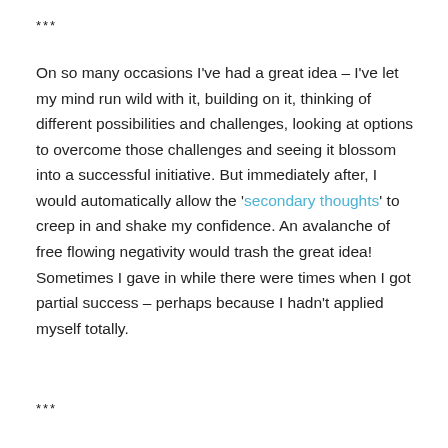***
On so many occasions I’ve had a great idea – I’ve let my mind run wild with it, building on it, thinking of different possibilities and challenges, looking at options to overcome those challenges and seeing it blossom into a successful initiative. But immediately after, I would automatically allow the ‘secondary thoughts’ to creep in and shake my confidence. An avalanche of free flowing negativity would trash the great idea! Sometimes I gave in while there were times when I got partial success – perhaps because I hadn’t applied myself totally.
***